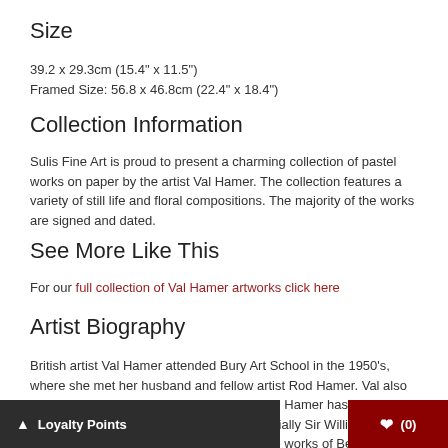Size
39.2 x 29.3cm (15.4" x 11.5")
Framed Size: 56.8 x 46.8cm (22.4" x 18.4")
Collection Information
Sulis Fine Art is proud to present a charming collection of pastel works on paper by the artist Val Hamer. The collection features a variety of still life and floral compositions. The majority of the works are signed and dated.
See More Like This
For our full collection of Val Hamer artworks click here
Artist Biography
British artist Val Hamer attended Bury Art School in the 1950's, where she met her husband and fellow artist Rod Hamer. Val also studied Fine Art at Lancaster College of Art. Hamer has been inspired by the Euston Road School, especially Sir William Coldstream and Euan Uglow, as well as the works of Bernard
Loyalty Points   ♥ (0)